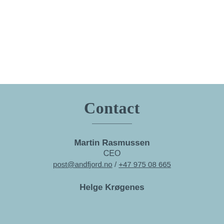Contact
Martin Rasmussen
CEO
post@andfjord.no / +47 975 08 665
Helge Krøgenes